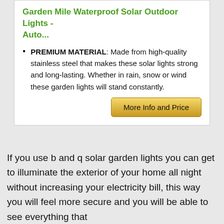Garden Mile Waterproof Solar Outdoor Lights - Auto...
PREMIUM MATERIAL: Made from high-quality stainless steel that makes these solar lights strong and long-lasting. Whether in rain, snow or wind these garden lights will stand constantly.
[Figure (other): More Info and Price button - golden/yellow gradient button]
If you use b and q solar garden lights you can get to illuminate the exterior of your home all night without increasing your electricity bill, this way you will feel more secure and you will be able to see everything that